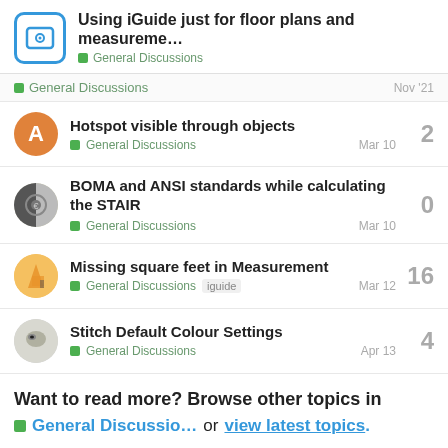Using iGuide just for floor plans and measureme... — General Discussions
General Discussions — Nov '21
Hotspot visible through objects
General Discussions — Mar 10 — 2
BOMA and ANSI standards while calculating the STAIR
General Discussions — Mar 10 — 0
Missing square feet in Measurement
General Discussions iguide — Mar 12 — 16
Stitch Default Colour Settings
General Discussions — Apr 13 — 4
Want to read more? Browse other topics in General Discussio... or view latest topics.